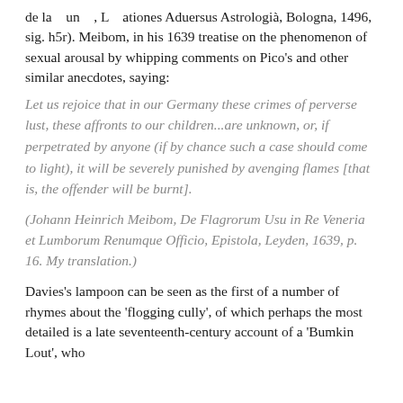de la [image] un [image], L [image] ationes Aduersus Astrologià, Bologna, 1496, sig. h5r). Meibom, in his 1639 treatise on the phenomenon of sexual arousal by whipping comments on Pico's and other similar anecdotes, saying:
Let us rejoice that in our Germany these crimes of perverse lust, these affronts to our children...are unknown, or, if perpetrated by anyone (if by chance such a case should come to light), it will be severely punished by avenging flames [that is, the offender will be burnt].
(Johann Heinrich Meibom, De Flagrorum Usu in Re Veneria et Lumborum Renumque Officio, Epistola, Leyden, 1639, p. 16. My translation.)
Davies's lampoon can be seen as the first of a number of rhymes about the 'flogging cully', of which perhaps the most detailed is a late seventeenth-century account of a 'Bumkin Lout', who